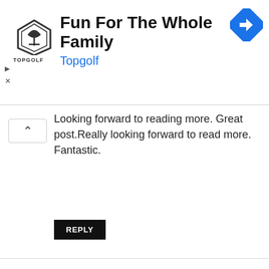[Figure (screenshot): Topgolf advertisement banner with logo, 'Fun For The Whole Family' heading, 'Topgolf' link in blue, and a blue navigation arrow icon on the right.]
Looking forward to reading more. Great post.Really looking forward to read more. Fantastic.
REPLY
joymall app download   14. April 2022 at 00:00
I am so grateful for your article post.Thanks Again.